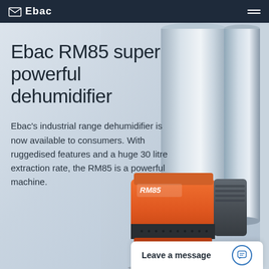Ebac
Ebac RM85 super powerful dehumidifier
Ebac's industrial range dehumidifier is now available to consumers. With ruggedised features and a huge 30 litre extraction rate, the RM85 is a powerful machine.
[Figure (photo): Ebac RM85 dehumidifier product photo showing an orange and grey industrial dehumidifier unit with RM85 label, positioned in front of grey cylindrical ductwork]
Leave a message